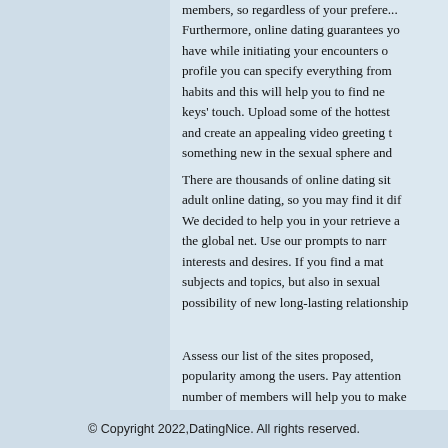members, so regardless of your preference... Furthermore, online dating guarantees yo have while initiating your encounters o profile you can specify everything from habits and this will help you to find ne keys' touch. Upload some of the hottest and create an appealing video greeting t something new in the sexual sphere and
There are thousands of online dating sit adult online dating, so you may find it dif We decided to help you in your retrieve a the global net. Use our prompts to narr interests and desires. If you find a mat subjects and topics, but also in sexual possibility of new long-lasting relationship
Assess our list of the sites proposed, popularity among the users. Pay attention number of members will help you to make
© Copyright 2022,DatingNice. All rights reserved.